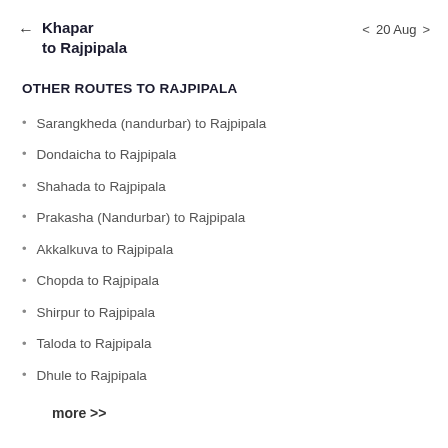← Khapar to Rajpipala   ‹ 20 Aug ›
OTHER ROUTES TO RAJPIPALA
Sarangkheda (nandurbar) to Rajpipala
Dondaicha to Rajpipala
Shahada to Rajpipala
Prakasha (Nandurbar) to Rajpipala
Akkalkuva to Rajpipala
Chopda to Rajpipala
Shirpur to Rajpipala
Taloda to Rajpipala
Dhule to Rajpipala
more >>